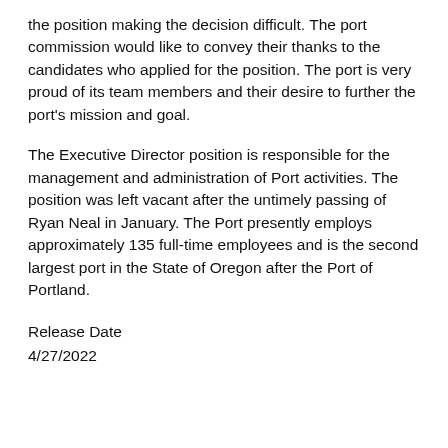the position making the decision difficult. The port commission would like to convey their thanks to the candidates who applied for the position. The port is very proud of its team members and their desire to further the port's mission and goal.
The Executive Director position is responsible for the management and administration of Port activities. The position was left vacant after the untimely passing of Ryan Neal in January. The Port presently employs approximately 135 full-time employees and is the second largest port in the State of Oregon after the Port of Portland.
Release Date
4/27/2022